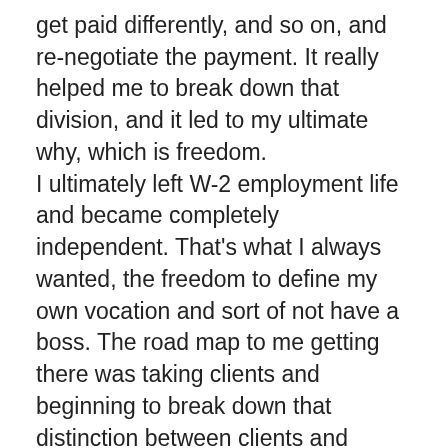get paid differently, and so on, and re-negotiate the payment. It really helped me to break down that division, and it led to my ultimate why, which is freedom. I ultimately left W-2 employment life and became completely independent. That's what I always wanted, the freedom to define my own vocation and sort of not have a boss. The road map to me getting there was taking clients and beginning to break down that distinction between clients and employers, and the type of work that I do for each. It may sound radical, but it's kind of an emotional and practical thing that comes up. I mentioned that there were two different contexts when I worked in a particular hospitality chain that I started out, sort of contrary to...